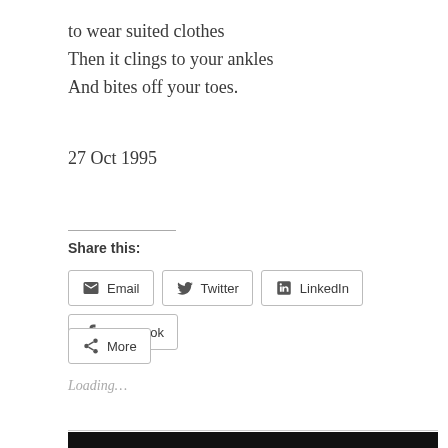to wear suited clothes
Then it clings to your ankles
And bites off your toes.
27 Oct 1995
Share this:
Email  Twitter  LinkedIn  Facebook  More
Loading...